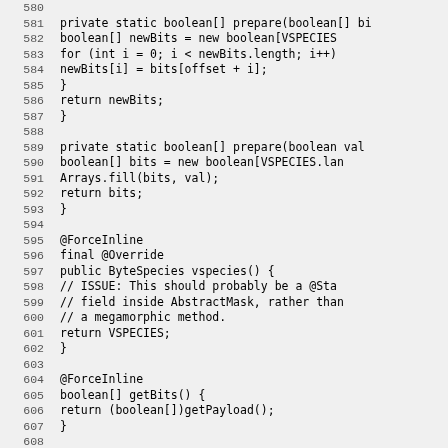580-609 source code lines showing Java methods: prepare(boolean[] bits), prepare(boolean val), vspecies(), getBits(), and start of @Override annotation